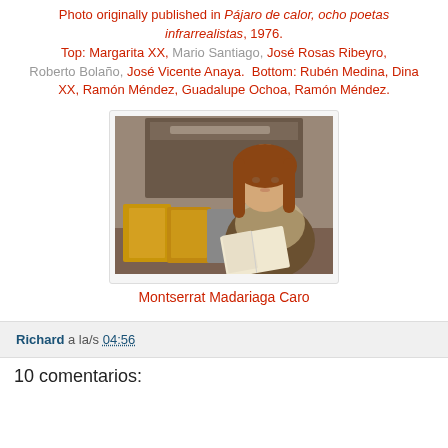Photo originally published in Pájaro de calor, ocho poetas infrarrealistas, 1976. Top: Margarita XX, Mario Santiago, José Rosas Ribeyro, Roberto Bolaño, José Vicente Anaya. Bottom: Rubén Medina, Dina XX, Ramón Méndez, Guadalupe Ochoa, Ramón Méndez.
[Figure (photo): Young woman with reddish-brown hair reading a book at a table, with book displays in front of her and a poster in the background showing 'Bolaño Infra' and 'Los Detectives Salvajes']
Montserrat Madariaga Caro
Richard a la/s 04:56
10 comentarios: